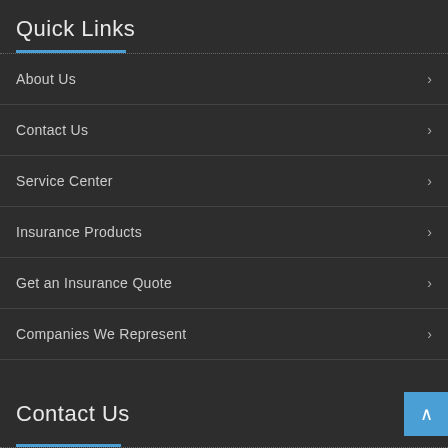Quick Links
About Us
Contact Us
Service Center
Insurance Products
Get an Insurance Quote
Companies We Represent
Staff Directory
Contact Us